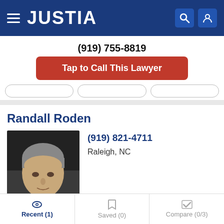JUSTIA
(919) 755-8819
Tap to Call This Lawyer
Randall Roden
[Figure (photo): Professional headshot of Randall Roden, a middle-aged man with gray hair]
(919) 821-4711
Raleigh, NC
Call
Profile
Shelia Huggins
Recent (1)
Saved (0)
Compare (0/3)